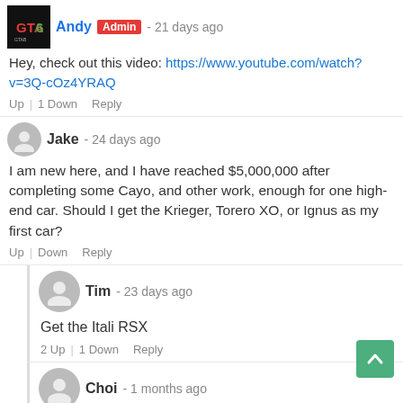Andy Admin - 21 days ago
Hey, check out this video: https://www.youtube.com/watch?v=3Q-cOz4YRAQ
Up | 1 Down Reply
Jake - 24 days ago
I am new here, and I have reached $5,000,000 after completing some Cayo, and other work, enough for one high-end car. Should I get the Krieger, Torero XO, or Ignus as my first car?
Up | Down Reply
Tim - 23 days ago
Get the Itali RSX
2 Up | 1 Down Reply
Choi - 1 months ago
Anyone get either the Hydra, Sterling, Or Rogue if you don't have the most money in the world just don't get the B11 it sucks,
Up | 1 Down Reply